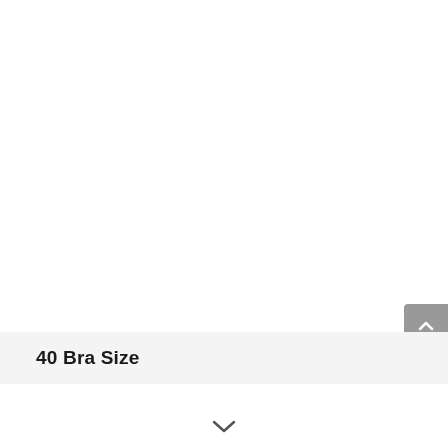[Figure (other): Scroll-to-top button: grey rounded rectangle with upward-pointing chevron icon, positioned at the right edge of the page]
40 Bra Size
[Figure (other): Downward-pointing chevron/arrow icon centered near the bottom of the page]